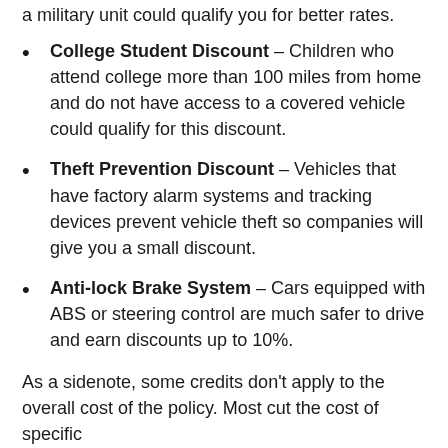a military unit could qualify you for better rates.
College Student Discount – Children who attend college more than 100 miles from home and do not have access to a covered vehicle could qualify for this discount.
Theft Prevention Discount – Vehicles that have factory alarm systems and tracking devices prevent vehicle theft so companies will give you a small discount.
Anti-lock Brake System – Cars equipped with ABS or steering control are much safer to drive and earn discounts up to 10%.
As a sidenote, some credits don't apply to the overall cost of the policy. Most cut the cost of specific